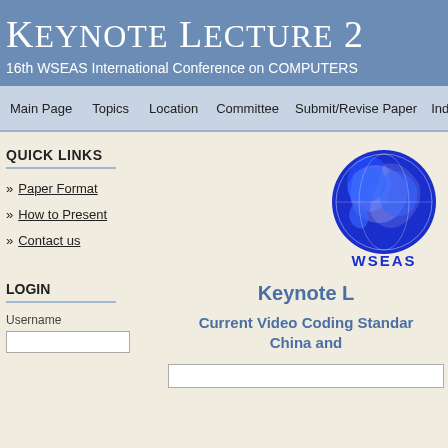Keynote Lecture 2
16th WSEAS International Conference on COMPUTERS
Main Page | Topics | Location | Committee | Submit/Revise Paper | Inde
QUICK LINKS
Paper Format
How to Present
Contact us
[Figure (logo): WSEAS globe logo in blue with 'WSEAS' text below]
LOGIN
Username
Keynote L
Current Video Coding Standards China and